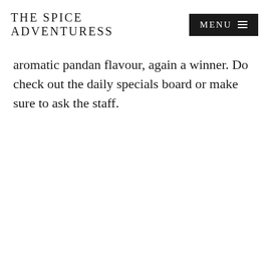THE SPICE ADVENTURESS
aromatic pandan flavour, again a winner. Do check out the daily specials board or make sure to ask the staff.